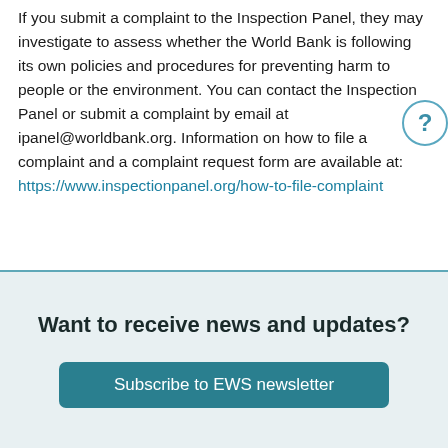If you submit a complaint to the Inspection Panel, they may investigate to assess whether the World Bank is following its own policies and procedures for preventing harm to people or the environment. You can contact the Inspection Panel or submit a complaint by email at ipanel@worldbank.org. Information on how to file a complaint and a complaint request form are available at: https://www.inspectionpanel.org/how-to-file-complaint
Want to receive news and updates?
Subscribe to EWS newsletter